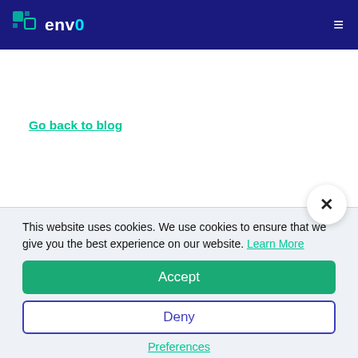env0 — navigation bar with logo and hamburger menu
Go back to blog
This website uses cookies. We use cookies to ensure that we give you the best experience on our website. Learn More
Accept
Deny
Preferences